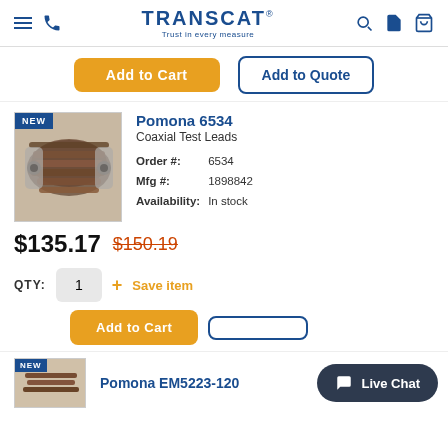TRANSCAT — Trust in every measure
Add to Cart | Add to Quote (top buttons)
[Figure (photo): Product image of Pomona 6534 Coaxial Test Leads — bundle of brown cables with BNC connectors, labeled NEW]
Pomona 6534
Coaxial Test Leads
| Order #: | 6534 |
| Mfg #: | 1898842 |
| Availability: | In stock |
$135.17  $150.19 (strikethrough)
QTY: 1  + Save item
Add to Cart | Add to Quote (bottom buttons)
Live Chat
Pomona EM5223-120